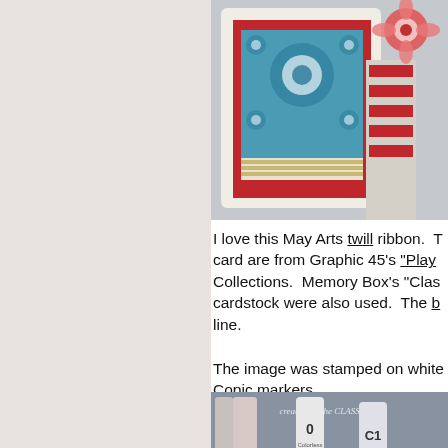[Figure (photo): Handmade greeting card with blue floral patterned paper, red striped elements, and decorative 3D flower embellishment, partially cropped.]
I love this May Arts twill ribbon.  The papers on this card are from Graphic 45's "Playful" Collections.  Memory Box's "Classic" cardstock were also used.  The b... line.
The image was stamped on white... Copic markers.
[Figure (photo): Copic markers laid out showing: 0 Colorless Blender, C0 Cool Gray No.0, C1 Cool Gray No.1, R20 Blush, R24 Prawn, R29 Lipstick Red. Watermark reads 'created for the CLASSroom'.]